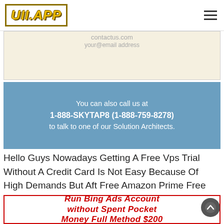UII.APP
[Figure (screenshot): Input/form area with faded placeholder text for email address, beige background]
You can also call us at 1-888-SKYTAP8 (1-888-759-8278) to talk to one of our Solution Architects.
Hello Guys Nowadays Getting A Free Vps Trial Without A Credit Card Is Not Easy Because Of High Demands But Aft Free Amazon Prime Free Amazon Products Trials
[Figure (screenshot): Ad banner with red bold italic text: Run Bing Ads Account without Spent Pocket Money Full Method $200]